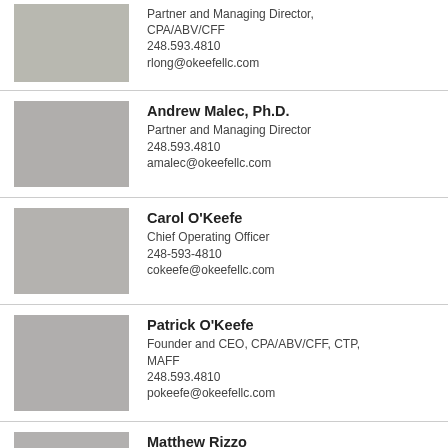Partner and Managing Director, CPA/ABV/CFF
248.593.4810
rlong@okeefellc.com
Andrew Malec, Ph.D.
Partner and Managing Director
248.593.4810
amalec@okeefellc.com
Carol O'Keefe
Chief Operating Officer
248-593-4810
cokeefe@okeefellc.com
Patrick O'Keefe
Founder and CEO, CPA/ABV/CFF, CTP, MAFF
248.593.4810
pokeefe@okeefellc.com
Matthew Rizzo
Managing Director, CPA, CVA
623.400.1046
mrizzo@okeefellc.com
John Ruther
Managing Director, CPA/ABV, CGMA